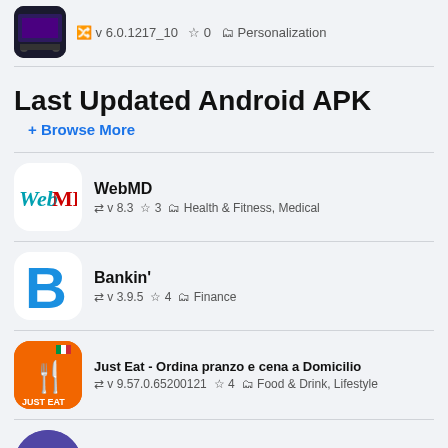v 6.0.1217_10  ☆ 0  Personalization
Last Updated Android APK
+ Browse More
WebMD  v 8.3  ☆ 3  Health & Fitness, Medical
Bankin'  v 3.9.5  ☆ 4  Finance
Just Eat - Ordina pranzo e cena a Domicilio  v 9.57.0.65200121  ☆ 4  Food & Drink, Lifestyle
SlicePay - Buy Now Pay Later for College